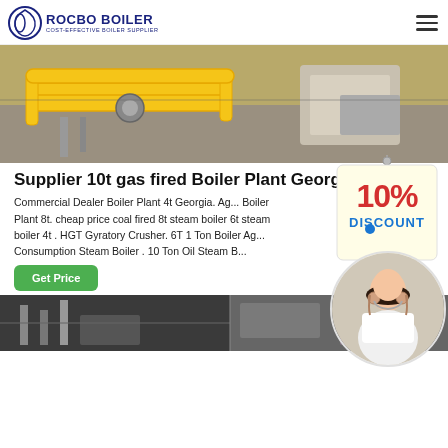ROCBO BOILER — COST-EFFECTIVE BOILER SUPPLIER
[Figure (photo): Industrial yellow gas pipes and valves in a boiler plant facility]
Supplier 10t gas fired Boiler Plant Georgia
[Figure (infographic): 10% Discount badge/tag graphic]
Commercial Dealer Boiler Plant 4t Georgia. Ag... Boiler Plant 8t. cheap price coal fired 8t steam boiler 6t steam boiler 4t . HGT Gyratory Crusher. 6T 1 Ton Boiler Ag... Consumption Steam Boiler . 10 Ton Oil Steam B...
[Figure (photo): Customer service representative with headset smiling]
Get Price
[Figure (photo): Industrial boiler plant interior with equipment and stairs]